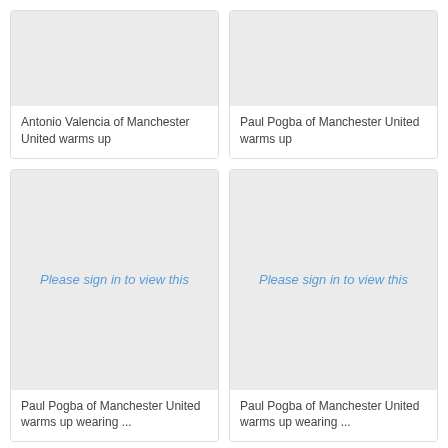[Figure (photo): Antonio Valencia of Manchester United warms up - image placeholder]
Antonio Valencia of Manchester United warms up
[Figure (photo): Paul Pogba of Manchester United warms up - image placeholder]
Paul Pogba of Manchester United warms up
[Figure (photo): Please sign in to view this - Paul Pogba of Manchester United warms up wearing ...]
Paul Pogba of Manchester United warms up wearing ...
[Figure (photo): Please sign in to view this - Paul Pogba of Manchester United warms up wearing ...]
Paul Pogba of Manchester United warms up wearing ...
[Figure (photo): Image placeholder - bottom left]
[Figure (photo): Image placeholder - bottom right]